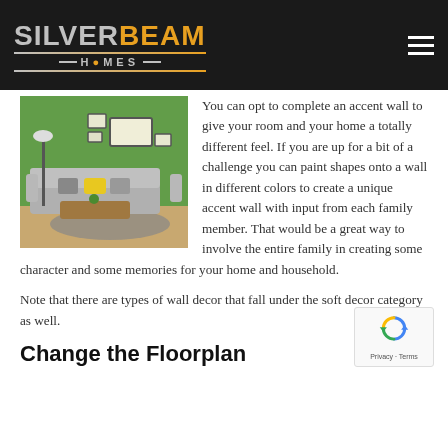[Figure (logo): Silver Beam Homes logo — silver and orange text on dark background with hamburger menu icon]
[Figure (photo): Modern living room with green accent wall, gray sectional sofa, yellow cushion, floor lamp, framed art, and coffee table]
You can opt to complete an accent wall to give your room and your home a totally different feel. If you are up for a bit of a challenge you can paint shapes onto a wall in different colors to create a unique accent wall with input from each family member. That would be a great way to involve the entire family in creating some character and some memories for your home and household.
Note that there are types of wall decor that fall under the soft decor category as well.
Change the Floorplan